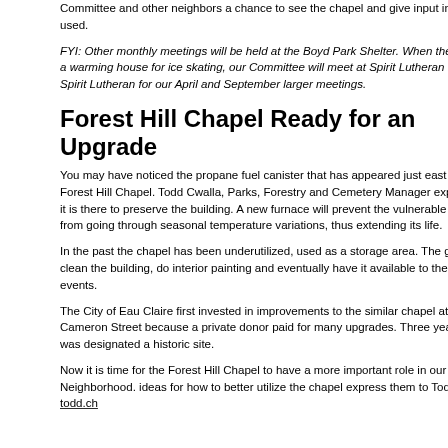Committee and other neighbors a chance to see the chapel and give input into how it is used.
FYI: Other monthly meetings will be held at the Boyd Park Shelter. When the Shelter is a warming house for ice skating, our Committee will meet at Spirit Lutheran Church. Spirit Lutheran for our April and September larger meetings.
Forest Hill Chapel Ready for an Upgrade
You may have noticed the propane fuel canister that has appeared just east of the Forest Hill Chapel. Todd Cwalla, Parks, Forestry and Cemetery Manager explains that it is there to preserve the building. A new furnace will prevent the vulnerable building from going through seasonal temperature variations, thus extending its life.
In the past the chapel has been underutilized, used as a storage area. The goal is to clean the building, do interior painting and eventually have it available to the public for events.
The City of Eau Claire first invested in improvements to the similar chapel at the Cameron Street because a private donor paid for many upgrades. Three years ago it was designated a historic site.
Now it is time for the Forest Hill Chapel to have a more important role in our Neighborhood. ideas for how to better utilize the chapel express them to Todd Chwalla: todd.ch